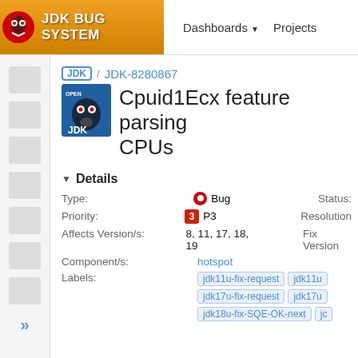JDK Bug System | Dashboards | Projects
JDK / JDK-8280867 Cpuid1Ecx feature parsing CPUs
Details
| Field | Value | Field2 |
| --- | --- | --- |
| Type: | Bug | Status: |
| Priority: | P3 | Resolution |
| Affects Version/s: | 8, 11, 17, 18, 19 | Fix Version |
| Component/s: | hotspot |  |
| Labels: | jdk11u-fix-request  jdk11u  jdk17u-fix-request  jdk17u  jdk18u-fix-SQE-OK-next  jc |  |